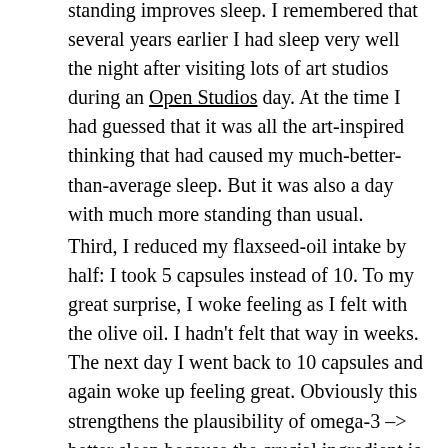standing improves sleep. I remembered that several years earlier I had sleep very well the night after visiting lots of art studios during an Open Studios day. At the time I had guessed that it was all the art-inspired thinking that had caused my much-better-than-average sleep. But it was also a day with much more standing than usual.
Third, I reduced my flaxseed-oil intake by half: I took 5 capsules instead of 10. To my great surprise, I woke feeling as I felt with the olive oil. I hadn't felt that way in weeks. The next day I went back to 10 capsules and again woke up feeling great. Obviously this strengthens the plausibility of omega-3 –> better sleep because the crucial ingredient is apparently in high quantities in the flaxseed oil capsules.
The stunning thing, the reason I was so surprised, is this: I didn't expect the flaxseed change to make a difference so quickly. When someone ate a zero-folate diet to learn